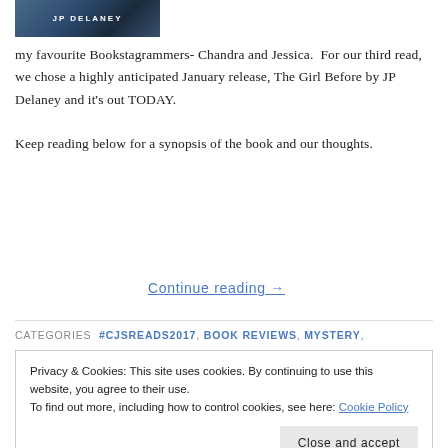[Figure (illustration): Book cover image for 'The Girl Before' by JP Delaney, showing a dark blue/teal graphic with white text 'JP DELANEY']
my favourite Bookstagrammers- Chandra and Jessica.  For our third read, we chose a highly anticipated January release, The Girl Before by JP Delaney and it's out TODAY.

Keep reading below for a synopsis of the book and our thoughts.
Continue reading →
CATEGORIES  #CJSREADS2017,  BOOK REVIEWS,  MYSTERY,
Privacy & Cookies: This site uses cookies. By continuing to use this website, you agree to their use.
To find out more, including how to control cookies, see here: Cookie Policy
Close and accept